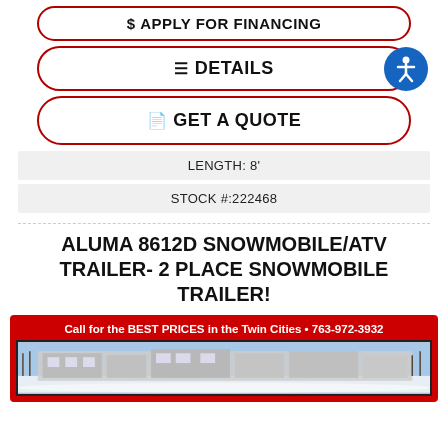$ APPLY FOR FINANCING
≡ DETAILS
GET A QUOTE
LENGTH: 8'
STOCK #: 222468
ALUMA 8612D SNOWMOBILE/ATV TRAILER- 2 PLACE SNOWMOBILE TRAILER!
[Figure (photo): Red-framed promotional image with banner text 'Call for the BEST PRICES in the Twin Cities • 763-972-3932' and a photo of a building with snow in the foreground.]